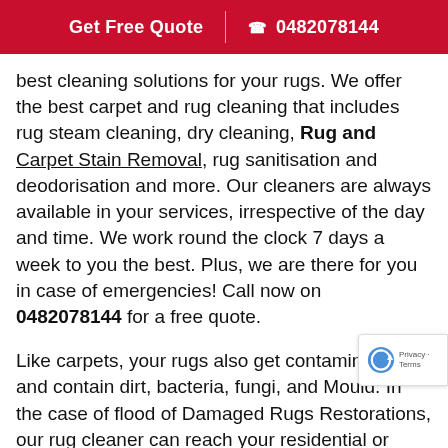Get Free Quote | ☎ 0482078144
best cleaning solutions for your rugs. We offer the best carpet and rug cleaning that includes rug steam cleaning, dry cleaning, Rug and Carpet Stain Removal, rug sanitisation and deodorisation and more. Our cleaners are always available in your services, irrespective of the day and time. We work round the clock 7 days a week to you the best. Plus, we are there for you in case of emergencies! Call now on 0482078144 for a free quote.
Like carpets, your rugs also get contaminated and contain dirt, bacteria, fungi, and Mould. In the case of flood of Damaged Rugs Restorations, our rug cleaner can reach your residential or commercial property within 1 hour of the booking !!! Plus, you can hire us for rug dry cleaning, rug steam cleaning